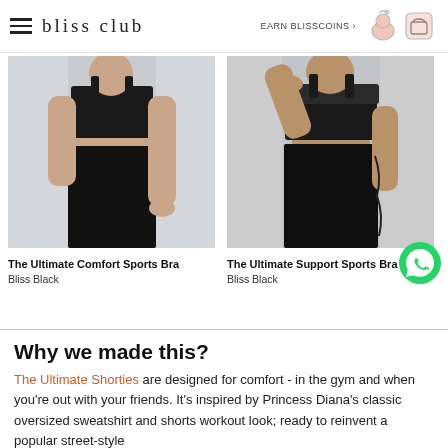bliss club — EARN BLISSCOINS ›
[Figure (photo): Woman wearing black sports bra and black leggings (The Ultimate Comfort Sports Bra in Bliss Black)]
The Ultimate Comfort Sports Bra
Bliss Black
[Figure (photo): Woman wearing black sports bra and black leggings (The Ultimate Support Sports Bra in Bliss Black)]
The Ultimate Support Sports Bra
Bliss Black
Why we made this?
The Ultimate Shorties are designed for comfort - in the gym and when you're out with your friends. It's inspired by Princess Diana's classic oversized sweatshirt and shorts workout look; ready to reinvent a popular street-style